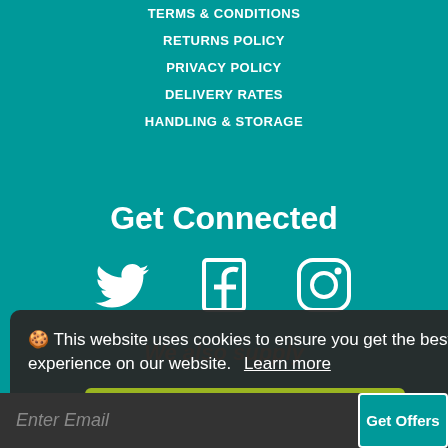TERMS & CONDITIONS
RETURNS POLICY
PRIVACY POLICY
DELIVERY RATES
HANDLING & STORAGE
Get Connected
[Figure (illustration): Social media icons: Twitter bird, Facebook F, Instagram camera]
We also supply
RUGBY EQUIPMENT
FITNESS TRAINING EQUIPMENT
🍪 This website uses cookies to ensure you get the best experience on our website. Learn more
Got it!
Enter Email
Get Offers